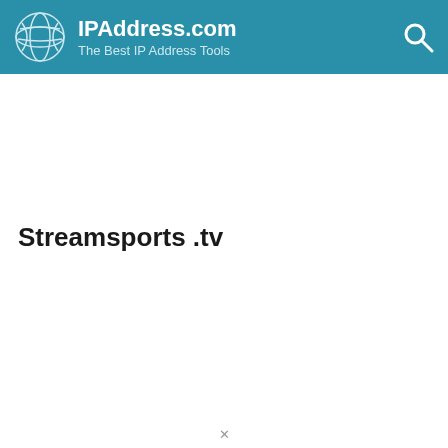IPAddress.com – The Best IP Address Tools
Streamsports .tv